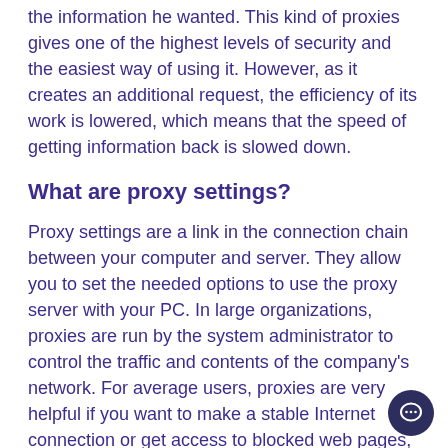the information he wanted. This kind of proxies gives one of the highest levels of security and the easiest way of using it. However, as it creates an additional request, the efficiency of its work is lowered, which means that the speed of getting information back is slowed down.
What are proxy settings?
Proxy settings are a link in the connection chain between your computer and server. They allow you to set the needed options to use the proxy server with your PC. In large organizations, proxies are run by the system administrator to control the traffic and contents of the company's network. For average users, proxies are very helpful if you want to make a stable Internet connection or get access to blocked web pages, files, and other resources. Use the Settings menu of your browser to configure your proxy settings.
What is the purpose of a proxy server?
The main reason users use proxy servers is to hide their addresses. Some websites ban users who live in a particular region. In that case, the only way to access the